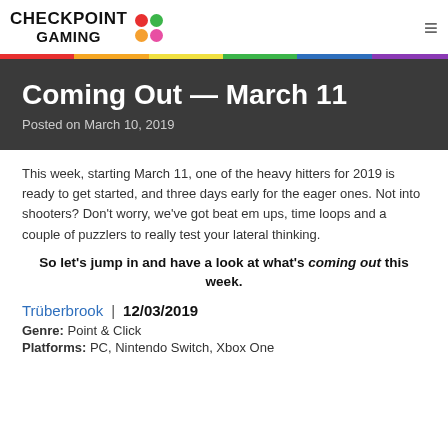CHECKPOINT GAMING
Coming Out — March 11
Posted on March 10, 2019
This week, starting March 11, one of the heavy hitters for 2019 is ready to get started, and three days early for the eager ones. Not into shooters? Don't worry, we've got beat em ups, time loops and a couple of puzzlers to really test your lateral thinking.
So let's jump in and have a look at what's coming out this week.
Trüberbrook  |  12/03/2019
Genre: Point & Click
Platforms: PC, Nintendo Switch, Xbox One